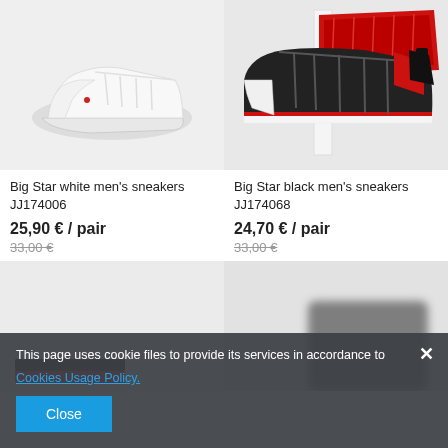[Figure (photo): White Big Star men's sneaker on white/light gray background]
[Figure (photo): Black Big Star men's sneaker with red accents on white background, showing both top and bottom of shoe]
Big Star white men's sneakers JJ174006
25,90 € / pair
33,00 €
Big Star black men's sneakers JJ174068
24,70 € / pair
33,00 €
[Figure (photo): Partially visible product image, bottom row left, obscured by cookie banner]
[Figure (photo): Partially visible product image, bottom row right, obscured by cookie banner]
This page uses cookie files to provide its services in accordance to Cookies Usage Policy.
Close